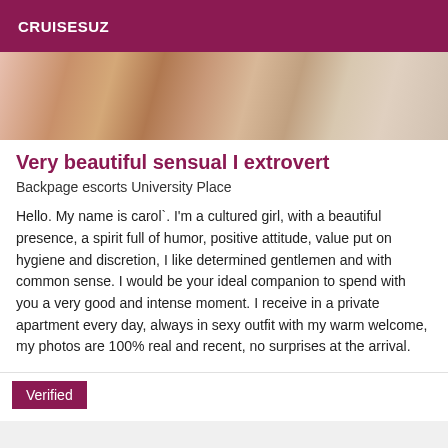CRUISESUZ
[Figure (photo): Close-up photo strip showing skin tones in warm browns and pinks]
Very beautiful sensual I extrovert
Backpage escorts University Place
Hello. My name is carol`. I'm a cultured girl, with a beautiful presence, a spirit full of humor, positive attitude, value put on hygiene and discretion, I like determined gentlemen and with common sense. I would be your ideal companion to spend with you a very good and intense moment. I receive in a private apartment every day, always in sexy outfit with my warm welcome, my photos are 100% real and recent, no surprises at the arrival.
Verified